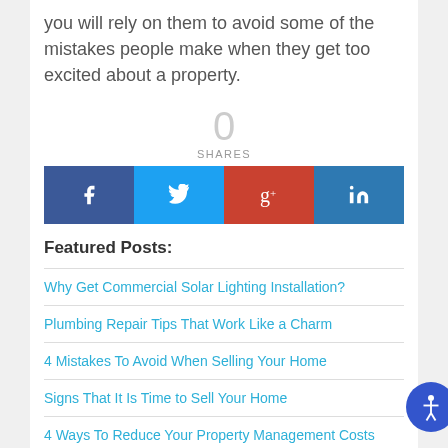you will rely on them to avoid some of the mistakes people make when they get too excited about a property.
0
SHARES
[Figure (infographic): Social share buttons: Facebook (dark blue), Twitter (light blue), Google+ (red), LinkedIn (medium blue)]
Featured Posts:
Why Get Commercial Solar Lighting Installation?
Plumbing Repair Tips That Work Like a Charm
4 Mistakes To Avoid When Selling Your Home
Signs That It Is Time to Sell Your Home
4 Ways To Reduce Your Property Management Costs